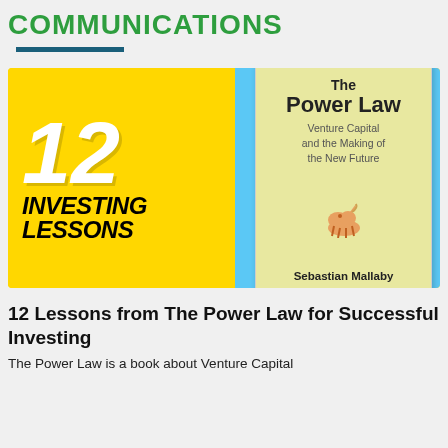COMMUNICATIONS
[Figure (illustration): Promotional image showing '12 INVESTING LESSONS' in large bold italic text on a yellow background with a blue circle, alongside a book cover for 'The Power Law: Venture Capital and the Making of the New Future' by Sebastian Mallaby on a light yellow background.]
12 Lessons from The Power Law for Successful Investing
The Power Law is a book about Venture Capital